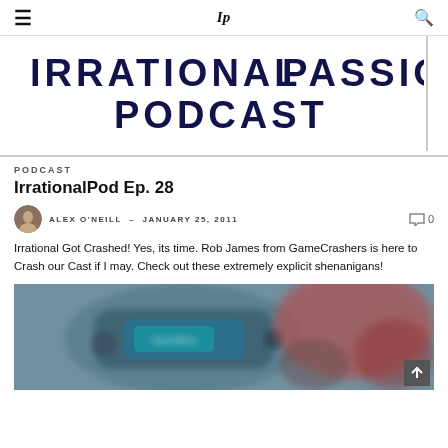≡  Ip  🔍
[Figure (illustration): Irrational Passions Podcast banner logo with large uppercase bold text reading IRRATIONAL PASSIONS PODCAST on dark navy color]
PODCAST
IrrationalPod Ep. 28
ALEX O'NEILL – JANUARY 25, 2011   💬 0
Irrational Got Crashed! Yes, its time. Rob James from GameCrashers is here to Crash our Cast if I may. Check out these extremely explicit shenanigans!
[Figure (photo): Blurry photo of a handheld gaming device (appears to be a GameBoy-style device) with blue and red colors visible, blurred background]